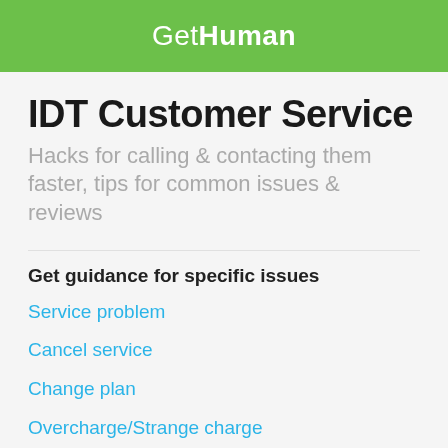GetHuman
IDT Customer Service
Hacks for calling & contacting them faster, tips for common issues & reviews
Get guidance for specific issues
Service problem
Cancel service
Change plan
Overcharge/Strange charge
Technical support